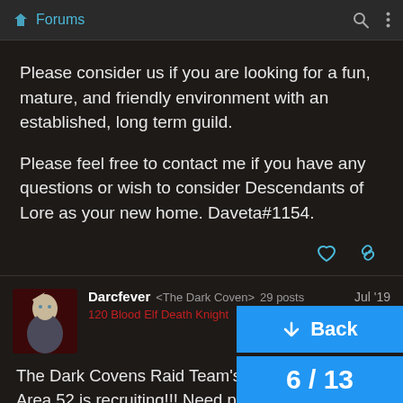Forums
Please consider us if you are looking for a fun, mature, and friendly environment with an established, long term guild.

Please feel free to contact me if you have any questions or wish to consider Descendants of Lore as your new home. Daveta#1154.
Darcfever <The Dark Coven> 29 posts  Jul '19
120 Blood Elf Death Knight  9495
The Dark Covens Raid Team's on Horde side Area 52 is recruiting!!! Need people with